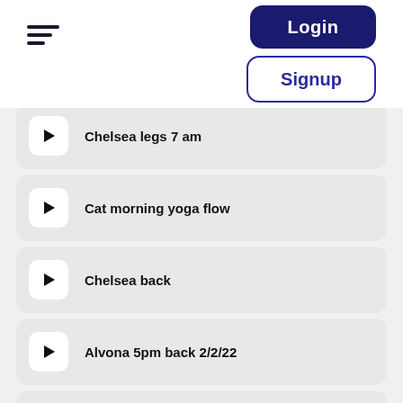[Figure (screenshot): Hamburger menu icon with three lines of decreasing width]
[Figure (screenshot): Login button - dark navy rounded rectangle]
[Figure (screenshot): Signup button - white rounded rectangle with navy border]
Chelsea legs 7 am
Cat morning yoga flow
Chelsea back
Alvona 5pm back 2/2/22
Flow with Victoria